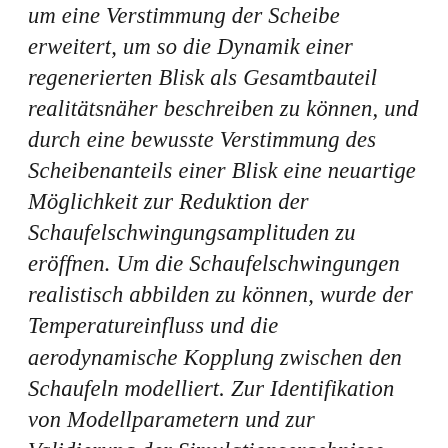um eine Verstimmung der Scheibe erweitert, um so die Dynamik einer regenerierten Blisk als Gesamtbauteil realitätsnäher beschreiben zu können, und durch eine bewusste Verstimmung des Scheibenanteils einer Blisk eine neuartige Möglichkeit zur Reduktion der Schaufelschwingungsamplituden zu eröffnen. Um die Schaufelschwingungen realistisch abbilden zu können, wurde der Temperatureinfluss und die aerodynamische Kopplung zwischen den Schaufeln modelliert. Zur Identifikation von Modellparametern und zur Validierung der Simulationsergebnisse wurden Messungen an einem Rotationsprüfstand durchgeführt, der für die gegebenen Anforderungen erweitert wurde.